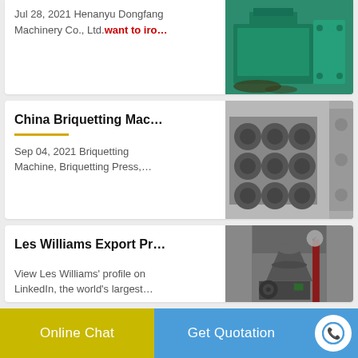Jul 28, 2021 Henanyu Dongfang Machinery Co., Ltd. want to iro…
[Figure (photo): Green industrial briquetting/pressing machine]
China Briquetting Mac…
Sep 04, 2021 Briquetting Machine, Briquetting Press,…
[Figure (photo): Metal briquetting machine mold with circular cavities]
Les Williams Export Pr…
View Les Williams' profile on LinkedIn, the world's largest…
[Figure (photo): Large grey industrial cone crusher machine in a factory setting]
Online Chat
Get Quotation